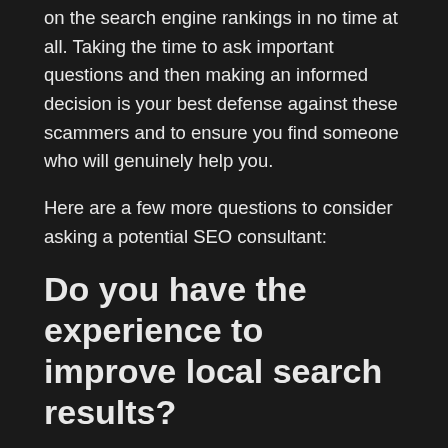on the search engine rankings in no time at all. Taking the time to ask important questions and then making an informed decision is your best defense against these scammers and to ensure you find someone who will genuinely help you.
Here are a few more questions to consider asking a potential SEO consultant:
Do you have the experience to improve local search results?
Appearing at the top of local search engine results is very important to small brick and mortar businesses trying to attract nearby clients so you want a consultant who has expertise in such local SEO techniques. In order to be local in the SEO world, your SEO professional should add your business's city and state to its website